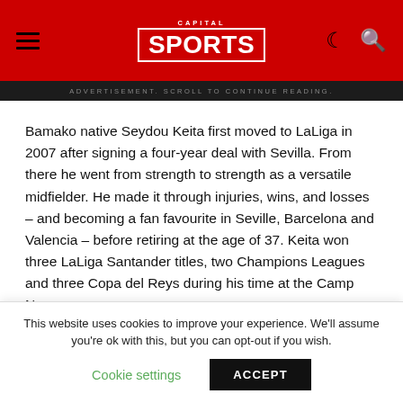Capital Sports
ADVERTISEMENT. SCROLL TO CONTINUE READING.
Bamako native Seydou Keita first moved to LaLiga in 2007 after signing a four-year deal with Sevilla. From there he went from strength to strength as a versatile midfielder. He made it through injuries, wins, and losses – and becoming a fan favourite in Seville, Barcelona and Valencia – before retiring at the age of 37. Keita won three LaLiga Santander titles, two Champions Leagues and three Copa del Reys during his time at the Camp Nou.
Geoffrey Kondogbia
This website uses cookies to improve your experience. We'll assume you're ok with this, but you can opt-out if you wish.
Cookie settings  ACCEPT